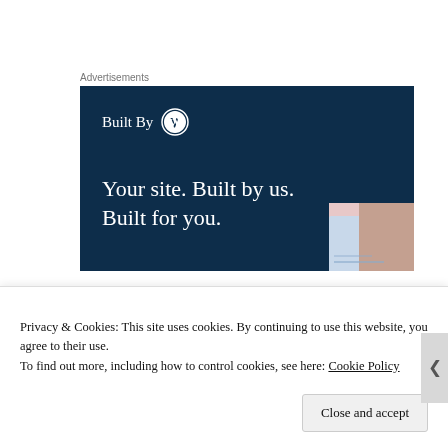Advertisements
[Figure (illustration): WordPress 'Built By' advertisement banner with dark navy background. Shows 'Built By [WordPress logo]' at top left and tagline 'Your site. Built by us. Built for you.' with a small screenshot preview in bottom right corner showing a person.]
DanaR
Privacy & Cookies: This site uses cookies. By continuing to use this website, you agree to their use.
To find out more, including how to control cookies, see here: Cookie Policy
Close and accept